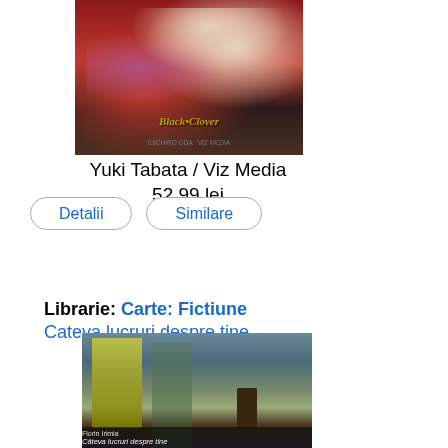[Figure (illustration): Book cover of Black Clover manga by Yuki Tabata / Viz Media, showing anime characters on a red background with the title in stylized text]
Yuki Tabata / Viz Media
52.99 lei
Detalii
Similare
Librarie: Carte: Fictiune
Cateva lucruri despre tine
[Figure (illustration): Book cover of 'Cateva lucruri despre tine' by Florin Irimia, showing a child figure looking out a bathroom window with yellow curtain]